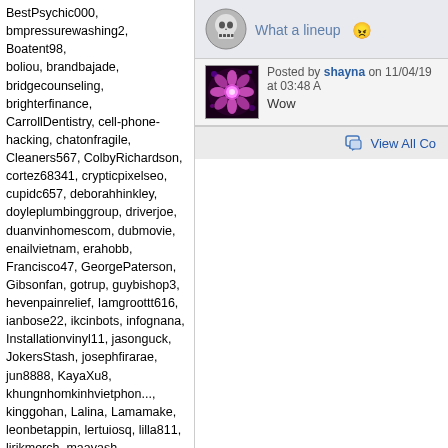BestPsychic000, bmpressurewashing2, Boatent98, boliou, brandbajade, bridgecounseling, brighterfinance, CarrollDentistry, cell-phone-hacking, chatonfragile, Cleaners567, ColbyRichardson, cortez68341, crypticpixelseo, cupidc657, deborahhinkley, doyleplumbinggroup, driverjoe, duanvinhomescom, dubmovie, enailvietnam, erahobb, Francisco47, GeorgePaterson, Gibsonfan, gotrup, guybishop3, hevenpainrelief, Iamgroottt616, ianbose22, ikcinbots, infognana, Installationvinyl11, jasonguck, JokersStash, josephfirarae, jun8888, KayaXu8, khungnhomkinhvietphon..., kinggohan, Lalina, Lamamake, leonbetappin, lertuiosq, lilla811, lirikmerch, maayash, macthanhvu, marquisbarkley, mayapatil281995, McKinneysTX, mikepaxson, missshweta, mistydaydream1, mod.CG, modzoro, mumtazdental, new888today, nhacais777, nhomxingfasadava, Ninagrace123, nojeses574, omnidigital, Onbetlinkcom, Penmanmnotaries, Pepa47D, phanmemketoan, PianoDoors, prestam1os, PsyBlade, qckntxhitnhed, SabineBrown, SalasloveStore, Samlokiy,
What a lineup 😠
Posted by shayna on 11/04/19 at 03:48 A
Wow
View All Co...